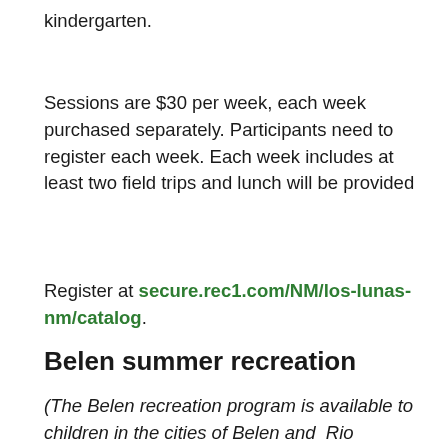kindergarten.
Sessions are $30 per week, each week purchased separately. Participants need to register each week. Each week includes at least two field trips and lunch will be provided
Register at secure.rec1.com/NM/los-lunas-nm/catalog.
Belen summer recreation
(The Belen recreation program is available to children in the cities of Belen and  Rio Communities and in the unincorporated